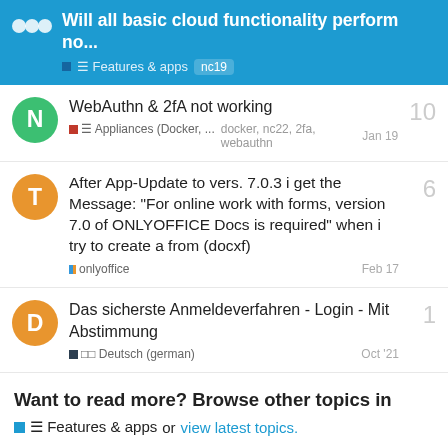Will all basic cloud functionality perform no... ☰ Features & apps nc19
WebAuthn & 2fA not working — Appliances (Docker, ... — docker, nc22, 2fa, webauthn — Jan 19 — 10
After App-Update to vers. 7.0.3 i get the Message: "For online work with forms, version 7.0 of ONLYOFFICE Docs is required" when i try to create a from (docxf) — onlyoffice — Feb 17 — 6
Das sicherste Anmeldeverfahren - Login - Mit Abstimmung — □□ Deutsch (german) — Oct '21 — 1
Want to read more? Browse other topics in ☰ Features & apps or view latest topics.